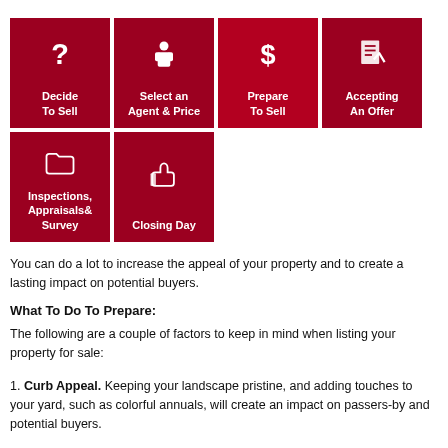[Figure (infographic): Navigation grid of 6 red tiles representing steps in the home selling process: Decide To Sell, Select an Agent & Price, Prepare To Sell (active/highlighted), Accepting An Offer, Inspections Appraisals & Survey, Closing Day]
You can do a lot to increase the appeal of your property and to create a lasting impact on potential buyers.
What To Do To Prepare:
The following are a couple of factors to keep in mind when listing your property for sale:
1. Curb Appeal. Keeping your landscape pristine, and adding touches to your yard, such as colorful annuals, will create an impact on passers-by and potential buyers.